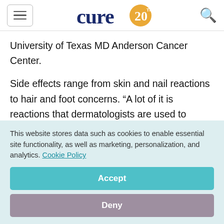cure 20th anniversary logo
University of Texas MD Anderson Cancer Center.
Side effects range from skin and nail reactions to hair and foot concerns. “A lot of it is reactions that dermatologists are used to seeing already that oncologists might not be as familiar with,” Patel, an associate professor of dermatology and internal
This website stores data such as cookies to enable essential site functionality, as well as marketing, personalization, and analytics. Cookie Policy
Accept
Deny